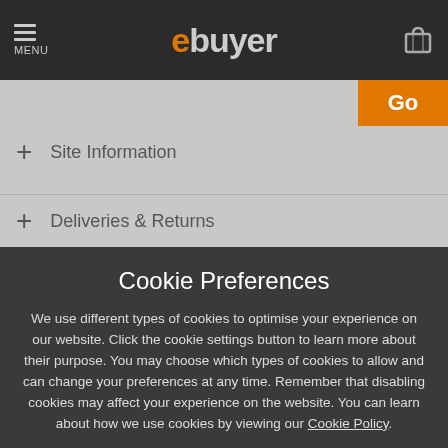[Figure (screenshot): ebuyer website header with hamburger menu, logo, and cart icon]
Site Information
Deliveries & Returns
Cookie Preferences
We use different types of cookies to optimise your experience on our website. Click the cookie settings button to learn more about their purpose. You may choose which types of cookies to allow and can change your preferences at any time. Remember that disabling cookies may affect your experience on the website. You can learn about how we use cookies by viewing our Cookie Policy.
Amend Your Preference
Accept All Cookies